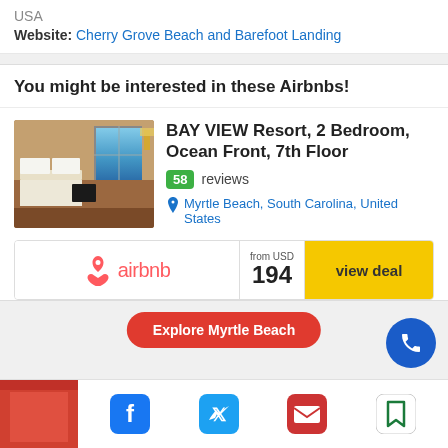USA
Website: Cherry Grove Beach and Barefoot Landing
You might be interested in these Airbnbs!
[Figure (photo): Hotel room photo showing a bed with white pillows, a window with ocean view, and a TV]
BAY VIEW Resort, 2 Bedroom, Ocean Front, 7th Floor
58 reviews
Myrtle Beach, South Carolina, United States
airbnb  from USD 194  view deal
Explore Myrtle Beach
[Figure (photo): Partial image of a red building at the bottom of the page]
[Figure (other): Social media icons: Facebook, Twitter, Email, Bookmark]